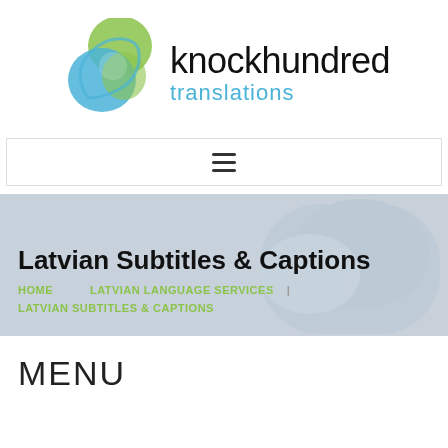[Figure (logo): Knockhundred Translations logo with overlapping blue and green circular shapes and the text 'knockhundred translations']
[Figure (other): Hamburger menu button (three horizontal lines) inside a bordered rectangle]
Latvian Subtitles & Captions
HOME  LATVIAN LANGUAGE SERVICES  |  LATVIAN SUBTITLES & CAPTIONS
MENU